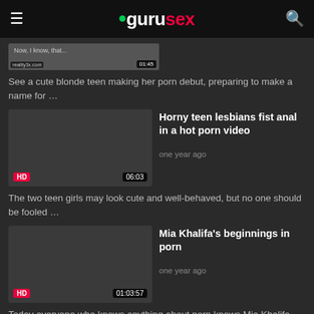gurusex
[Figure (screenshot): Partially visible video thumbnail showing a blonde teen video from reality3x.com]
See a cute blonde teen making her porn debut, preparing to make a name for …
Horny teen lesbians fist anal in a hot porn video
one year ago
HD  06:03
The two teen girls may look cute and well-behaved, but no one should be fooled …
Mia Khalifa's beginnings in porn
one year ago
HD  01:03:57
Today everyone who knows anything about porn knows Mia Khalifa, the girl became …